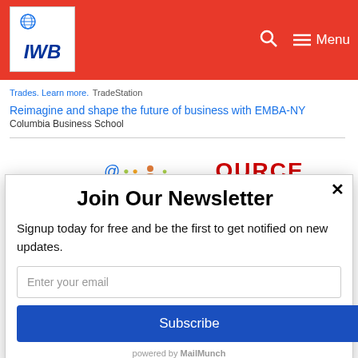[Figure (logo): IWB logo with globe icon on white background in red navigation bar with search and menu icons]
Trades. Learn more. TradeStation
Reimagine and shape the future of business with EMBA-NY
Columbia Business School
[Figure (screenshot): Partial view of page content with colorful icons and red text beginning with letters OURCE or similar]
Join Our Newsletter
Signup today for free and be the first to get notified on new updates.
Enter your email
Subscribe
powered by MailMunch